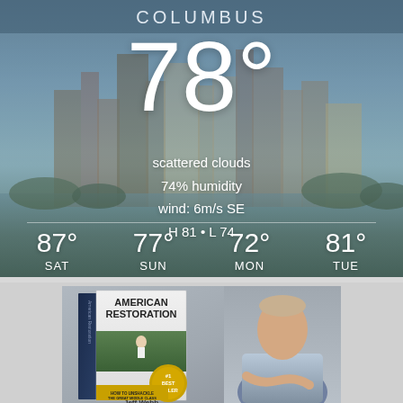[Figure (screenshot): Weather widget showing Columbus city skyline background with current temperature 78°, scattered clouds, 74% humidity, wind 6m/s SE, H 81 L 74, and 4-day forecast: SAT 87°, SUN 77°, MON 72°, TUE 81°]
[Figure (photo): Book cover for 'American Restoration' by Jeff Webb, #1 Best Seller badge, alongside photo of a middle-aged man in light blue shirt with arms crossed]